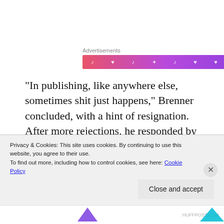Advertisements
[Figure (other): Advertisement banner with gradient background (pink to purple) and small white music/heart icons]
“In publishing, like anywhere else, sometimes shit just happens,” Brenner concluded, with a hint of resignation. After more rejections, he responded by abandoning the idea of conventional publishing and taking on all the tasks himself. “It required me to become a jack-of-all trades, but the fact that I don’t get along well with many people actually makes that a good way to work,” Brenner
Privacy & Cookies: This site uses cookies. By continuing to use this website, you agree to their use.
To find out more, including how to control cookies, see here: Cookie Policy
Close and accept